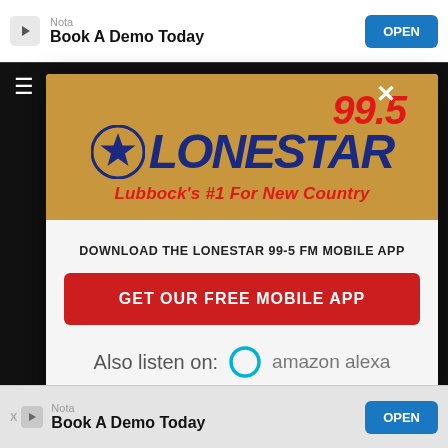[Figure (screenshot): Top advertisement bar showing Nota app ad 'Book A Demo Today' with OPEN button]
[Figure (logo): 99.5 Lonestar radio station logo with gold background, red 99.5, blue LONESTAR text with star icon, red italic tagline: Lubbock's #1 For New Country]
DOWNLOAD THE LONESTAR 99-5 FM MOBILE APP
GET OUR FREE MOBILE APP
Also listen on: amazon alexa
[Figure (screenshot): Bottom advertisement bar showing Nota app ad 'Book A Demo Today' with OPEN button and X/play icons]